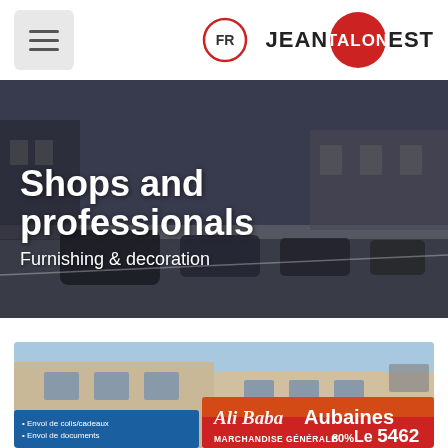[Figure (screenshot): Website header with hamburger menu icon on the left and FR language toggle circle plus Jean Talon Est logo on the right]
[Figure (photo): Street-level photo of Jean Talon Est commercial strip with parked cars along the road and shops in background, overlaid with 'Shops and professionals' title and 'Furnishing & decoration' subtitle]
Shops and professionals
Furnishing & decoration
[Figure (photo): Storefront photo showing Ali Baba Aubaines sign with 'MARCHANDISE GÉNÉRALE 80%' and address number 5462, blue and red signage]